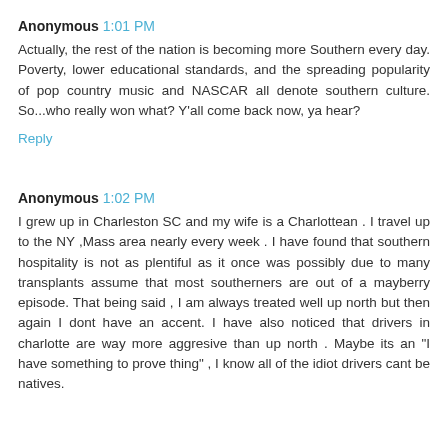Anonymous 1:01 PM
Actually, the rest of the nation is becoming more Southern every day. Poverty, lower educational standards, and the spreading popularity of pop country music and NASCAR all denote southern culture. So...who really won what? Y'all come back now, ya hear?
Reply
Anonymous 1:02 PM
I grew up in Charleston SC and my wife is a Charlottean . I travel up to the NY ,Mass area nearly every week . I have found that southern hospitality is not as plentiful as it once was possibly due to many transplants assume that most southerners are out of a mayberry episode. That being said , I am always treated well up north but then again I dont have an accent. I have also noticed that drivers in charlotte are way more aggresive than up north . Maybe its an "I have something to prove thing" , I know all of the idiot drivers cant be natives.